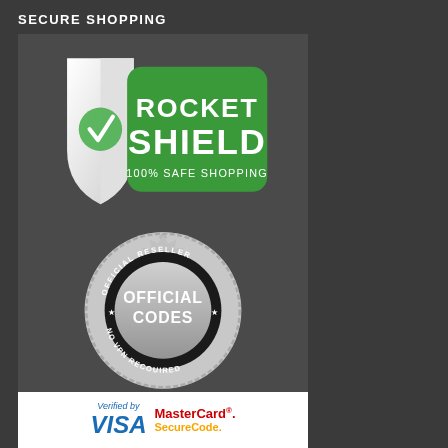SECURE SHOPPING
[Figure (logo): Rocket Shield logo with green badge and white shield with checkmark, text: ROCKET SHIELD 100% SAFE SHOPPING]
[Figure (logo): Official Reseller seal badge with text: OFFICIAL RESELLER, OFFICIAL CODES, NO VPN REQUIRED, with stars decoration]
[Figure (logo): Payment trust badges: Verified by VISA and MasterCard SecureCode logos]